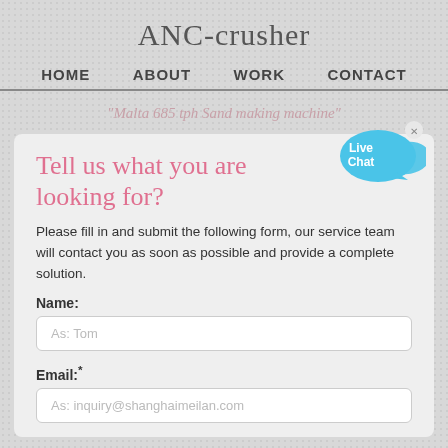ANC-crusher
HOME   ABOUT   WORK   CONTACT
"Malta 685 tph Sand making machine"
Tell us what you are looking for?
[Figure (illustration): Live Chat speech bubble icon in cyan/blue with text 'Live Chat' and a small X close button]
Please fill in and submit the following form, our service team will contact you as soon as possible and provide a complete solution.
Name:
As: Tom
Email:*
As: inquiry@shanghaimeilan.com